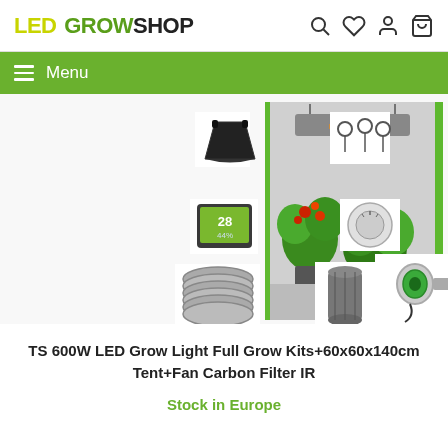LED GROWSHOP
[Figure (screenshot): Navigation menu bar with hamburger icon and Menu label on green background]
[Figure (photo): Product kit photo showing grow tent with LED light, carbon filter, inline fan, ducting, hygrometer, timer, fabric pot, and hangers]
TS 600W LED Grow Light Full Grow Kits+60x60x140cm Tent+Fan Carbon Filter IR
Stock in Europe